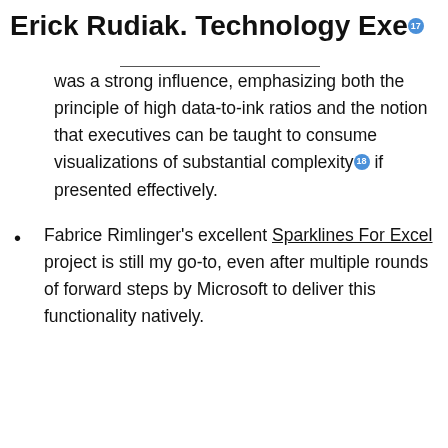Erick Rudiak. Technology Exe…
was a strong influence, emphasizing both the principle of high data-to-ink ratios and the notion that executives can be taught to consume visualizations of substantial complexity [18] if presented effectively.
Fabrice Rimlinger's excellent Sparklines For Excel project is still my go-to, even after multiple rounds of forward steps by Microsoft to deliver this functionality natively.